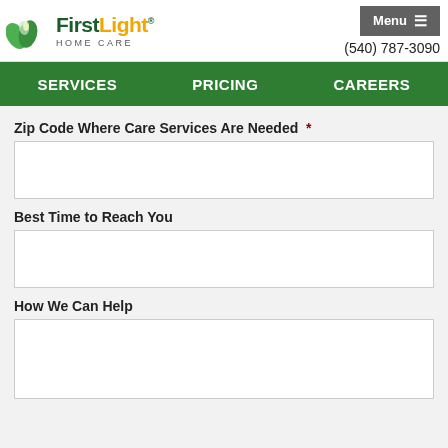[Figure (logo): FirstLight Home Care logo with green leaves and orange/green text]
(540) 787-3090
Menu ≡
SERVICES   PRICING   CAREERS
Zip Code Where Care Services Are Needed *
Best Time to Reach You
How We Can Help